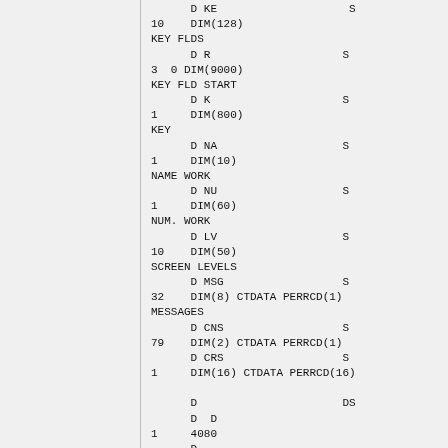D KE                    S
10    DIM(128)
KEY FLDS
      D R                    S
3  0 DIM(9000)
KEY FLD START
      D K                    S
1     DIM(800)
KEY
      D NA                   S
1     DIM(10)
NAME WORK
      D NU                   S
1     DIM(60)
NUM. WORK
      D LV                   S
10    DIM(50)
SCREEN LEVELS
      D MSG                  S
32    DIM(8) CTDATA PERRCD(1)
MESSAGES
      D CNS                  S
79    DIM(2) CTDATA PERRCD(1)
      D CRS                  S
1     DIM(16) CTDATA PERRCD(16)

      D                      DS
      D  D
1     4080
      D
DIM(4080)
INCOMING DATA